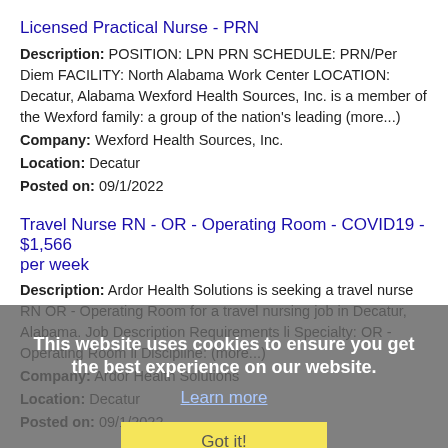Licensed Practical Nurse - PRN
Description: POSITION: LPN PRN SCHEDULE: PRN/Per Diem FACILITY: North Alabama Work Center LOCATION: Decatur, Alabama Wexford Health Sources, Inc. is a member of the Wexford family: a group of the nation's leading (more...)
Company: Wexford Health Sources, Inc.
Location: Decatur
Posted on: 09/1/2022
Travel Nurse RN - OR - Operating Room - COVID19 - $1,566 per week
Description: Ardor Health Solutions is seeking a travel nurse RN OR - Operating Room for a travel nursing job in Decatur, Alabama. Job Description Requirements li Specialty: OR - Operating Room li Discipline: (more...)
Company: Ardor Health Solutions
Location: Decatur
Posted on: 09/1/2022
31B Military Police - Police Officer
Description: Have you ever dreamed of making an impact How about serving your community, State, and Nation As a Military Police Officer for the Army National Guard, you'll do all of these